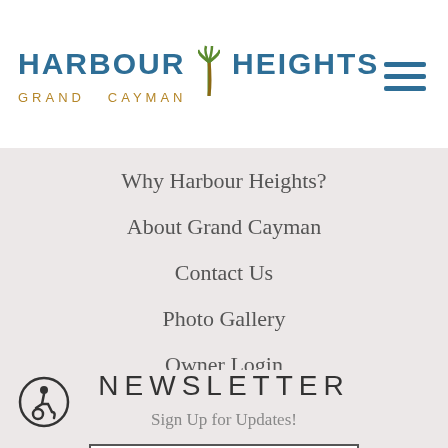Harbour Heights Grand Cayman
Why Harbour Heights?
About Grand Cayman
Contact Us
Photo Gallery
Owner Login
NEWSLETTER
Sign Up for Updates!
Your Email Address
hCaptcha